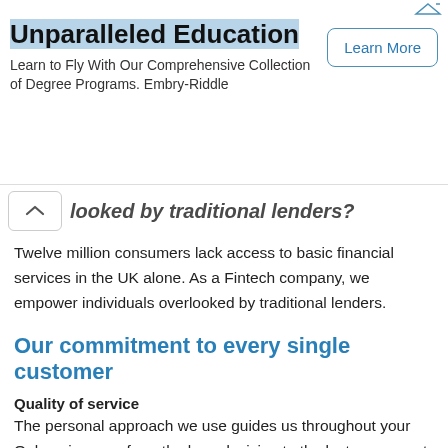[Figure (other): Advertisement banner: 'Unparalleled Education - Learn to Fly With Our Comprehensive Collection of Degree Programs. Embry-Riddle' with a 'Learn More' button]
looked by traditional lenders?
Twelve million consumers lack access to basic financial services in the UK alone. As a Fintech company, we empower individuals overlooked by traditional lenders.
Our commitment to every single customer
Quality of service
The personal approach we use guides us throughout your Oakam journey, from the loan decision to the last repayment.
Convenient access
We use multiple channels, languages and products, which are key elements of the Oakam journey. Customer satisfaction is